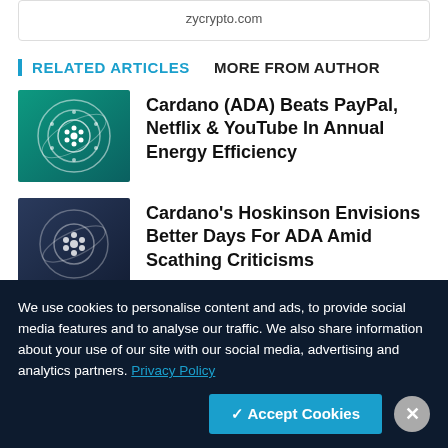zycrypto.com
RELATED ARTICLES   MORE FROM AUTHOR
[Figure (illustration): Cardano logo on teal/green circular graphic background]
Cardano (ADA) Beats PayPal, Netflix & YouTube In Annual Energy Efficiency
[Figure (illustration): Cardano logo on dark navy circular graphic background]
Cardano's Hoskinson Envisions Better Days For ADA Amid Scathing Criticisms
We use cookies to personalise content and ads, to provide social media features and to analyse our traffic. We also share information about your use of our site with our social media, advertising and analytics partners. Privacy Policy